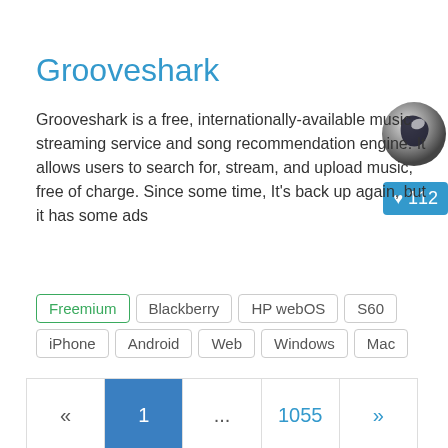Grooveshark
Grooveshark is a free, internationally-available music streaming service and song recommendation engine. It allows users to search for, stream, and upload music, free of charge. Since some time, It's back up again, but it has some ads
[Figure (logo): Grooveshark logo - dark circular icon]
♥ 112
Freemium
Blackberry
HP webOS
S60
iPhone
Android
Web
Windows
Mac
« 1 ... 1055 »